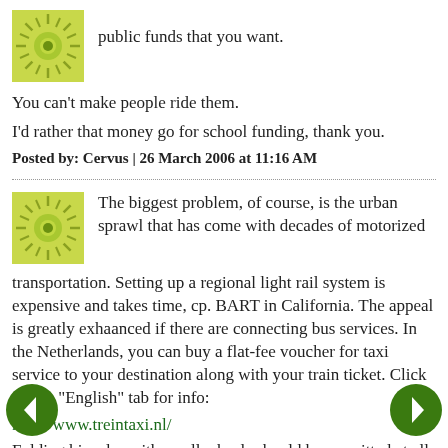public funds that you want.
You can't make people ride them.
I'd rather that money go for school funding, thank you.
Posted by: Cervus | 26 March 2006 at 11:16 AM
[Figure (illustration): Green sunburst avatar icon]
The biggest problem, of course, is the urban sprawl that has come with decades of motorized transportation. Setting up a regional light rail system is expensive and takes time, cp. BART in California. The appeal is greatly exhaanced if there are connecting bus services. In the Netherlands, you can buy a flat-fee voucher for taxi service to your destination along with your train ticket. Click on the "English" tab for info:
http://www.treintaxi.nl/
Folding bicycles with small wheels should be permitted at all times, regular ones outside of rush hour (capacity